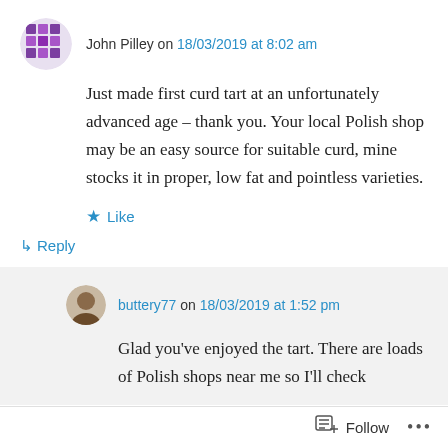John Pilley on 18/03/2019 at 8:02 am
Just made first curd tart at an unfortunately advanced age – thank you. Your local Polish shop may be an easy source for suitable curd, mine stocks it in proper, low fat and pointless varieties.
Like
↳ Reply
buttery77 on 18/03/2019 at 1:52 pm
Glad you've enjoyed the tart. There are loads of Polish shops near me so I'll check